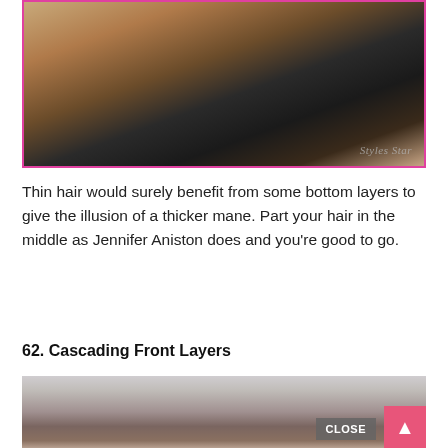[Figure (photo): Photo of a woman with layered medium-length blonde/brown hair, wearing a dark top, with a watermark reading 'Styles Star' in the bottom right corner. Photo has a pink/magenta border.]
Thin hair would surely benefit from some bottom layers to give the illusion of a thicker mane. Part your hair in the middle as Jennifer Aniston does and you're good to go.
62. Cascading Front Layers
[Figure (photo): Photo of a woman with long dark brown hair with highlights, viewed from above/slightly behind, showing a center part. A 'CLOSE' button overlay is visible in the lower right area of the photo, and a pink scroll-to-top button is in the bottom right corner.]